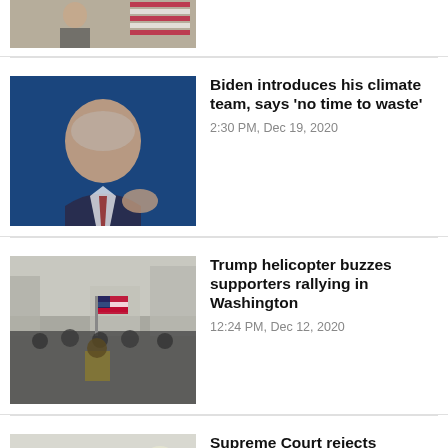[Figure (photo): Partial photo at top of page, person at podium with American flag]
[Figure (photo): Biden speaking at podium on blue background]
Biden introduces his climate team, says 'no time to waste'
2:30 PM, Dec 19, 2020
[Figure (photo): Crowd of Trump supporters rallying in Washington DC street]
Trump helicopter buzzes supporters rallying in Washington
12:24 PM, Dec 12, 2020
[Figure (photo): US Supreme Court building exterior]
Supreme Court rejects Republican attack on Biden victory
3:43 PM, Dec 11, 2020
[Figure (photo): Partial photo at bottom, Georgia re-certifies election]
Georgia re-certifies election